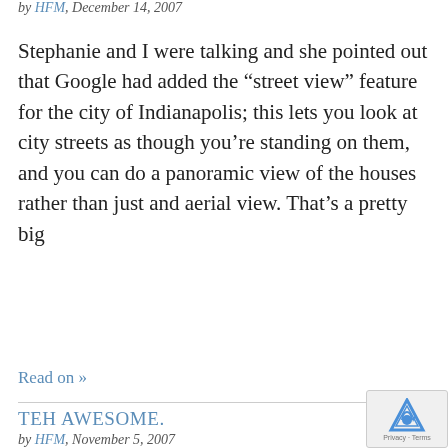by HFM, December 14, 2007
Stephanie and I were talking and she pointed out that Google had added the “street view” feature for the city of Indianapolis; this lets you look at city streets as though you’re standing on them, and you can do a panoramic view of the houses rather than just and aerial view. That’s a pretty big
Read on »
TEH AWESOME.
by HFM, November 5, 2007